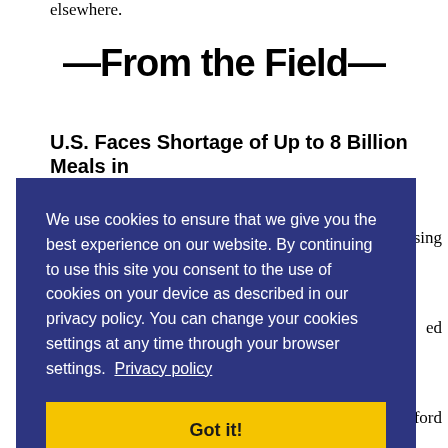elsewhere.
—From the Field—
U.S. Faces Shortage of Up to 8 Billion Meals in Next 12 Months, Leading Food Bank S...
We use cookies to ensure that we give you the best experience on our website. By continuing to use this site you consent to the use of cookies on your device as described in our privacy policy. You can change your cookies settings at any time through your browser settings. Privacy policy Got it!
(Forward, September 24)